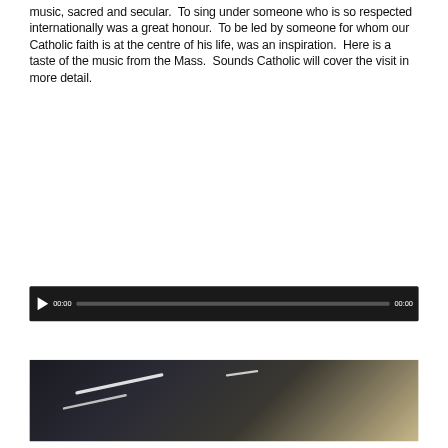music, sacred and secular.  To sing under someone who is so respected internationally was a great honour.  To be led by someone for whom our Catholic faith is at the centre of his life, was an inspiration.  Here is a taste of the music from the Mass.  Sounds Catholic will cover the visit in more detail.
[Figure (other): Audio player widget with dark background, play button, time stamps showing 00:00 on both sides, and a grey progress bar.]
[Figure (photo): Dark interior photo showing draped black curtains on the left and diagonal ceiling light strips illuminating a beige/tan wall on the right.]